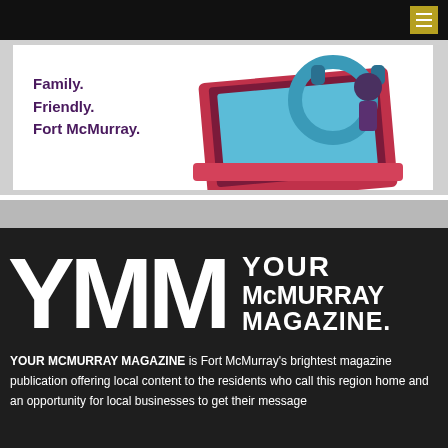[Figure (illustration): Advertisement banner showing a laptop illustration with headphones and the text 'Family. Friendly. Fort McMurray.' in purple on a white background with a gray border.]
[Figure (logo): YMM Your McMurray Magazine logo on dark background — large white distressed letters 'YMM' with 'YOUR McMURRAY MAGAZINE' to the right. Tagline: 'A magazine for everyone who lives, works & plays here']
YOUR MCMURRAY MAGAZINE is Fort McMurray's brightest magazine publication offering local content to the residents who call this region home and an opportunity for local businesses to get their message